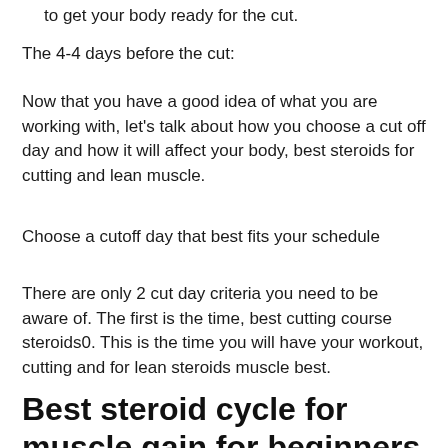to get your body ready for the cut.
The 4-4 days before the cut:
Now that you have a good idea of what you are working with, let's talk about how you choose a cut off day and how it will affect your body, best steroids for cutting and lean muscle.
Choose a cutoff day that best fits your schedule
There are only 2 cut day criteria you need to be aware of. The first is the time, best cutting course steroids0. This is the time you will have your workout, cutting and for lean steroids muscle best.
Best steroid cycle for muscle gain for beginners